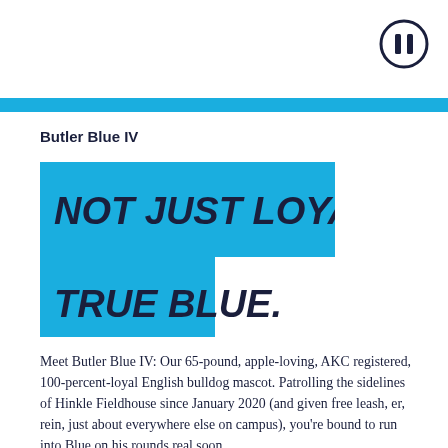[Figure (other): Pause button icon — circle with two vertical bars inside, dark navy outline]
Butler Blue IV
[Figure (infographic): Blue banner graphic with bold italic uppercase text: NOT JUST LOYAL. TRUE BLUE. — top rectangle full width, bottom rectangle narrower, creating a step shape]
Meet Butler Blue IV: Our 65-pound, apple-loving, AKC registered, 100-percent-loyal English bulldog mascot. Patrolling the sidelines of Hinkle Fieldhouse since January 2020 (and given free leash, er, rein, just about everywhere else on campus), you're bound to run into Blue on his rounds real soon.